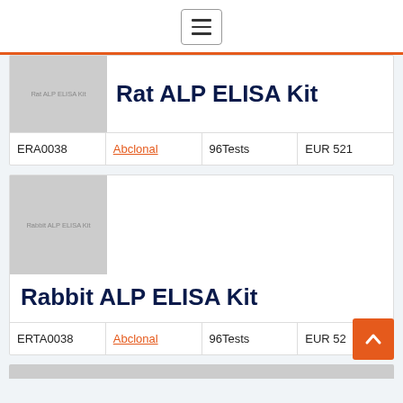☰ (hamburger menu)
[Figure (photo): Gray placeholder image for Rat ALP ELISA Kit product]
Rat ALP ELISA Kit
| ID | Brand | Size | Price |
| --- | --- | --- | --- |
| ERA0038 | Abclonal | 96Tests | EUR 521 |
[Figure (photo): Gray placeholder image for Rabbit ALP ELISA Kit product]
Rabbit ALP ELISA Kit
| ID | Brand | Size | Price |
| --- | --- | --- | --- |
| ERTA0038 | Abclonal | 96Tests | EUR 52… |